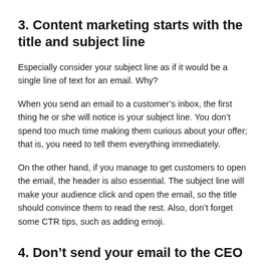3. Content marketing starts with the title and subject line
Especially consider your subject line as if it would be a single line of text for an email. Why?
When you send an email to a customer’s inbox, the first thing he or she will notice is your subject line. You don’t spend too much time making them curious about your offer; that is, you need to tell them everything immediately.
On the other hand, if you manage to get customers to open the email, the header is also essential. The subject line will make your audience click and open the email, so the title should convince them to read the rest. Also, don’t forget some CTR tips, such as adding emoji.
4. Don’t send your email to the CEO